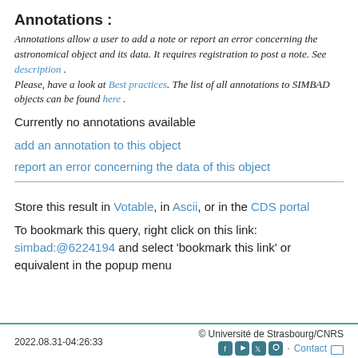Annotations :
Annotations allow a user to add a note or report an error concerning the astronomical object and its data. It requires registration to post a note. See description . Please, have a look at Best practices. The list of all annotations to SIMBAD objects can be found here .
Currently no annotations available
add an annotation to this object
report an error concerning the data of this object
Store this result in Votable, in Ascii, or in the CDS portal
To bookmark this query, right click on this link: simbad:@6224194 and select 'bookmark this link' or equivalent in the popup menu
2022.08.31-04:26:33   © Université de Strasbourg/CNRS   Contact